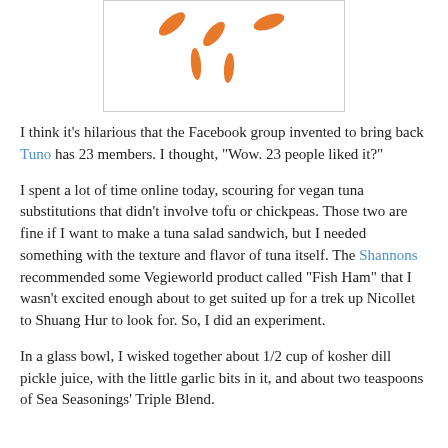[Figure (illustration): Several orange elongated pill or petal shaped objects scattered loosely on a white background inside a bordered box]
I think it's hilarious that the Facebook group invented to bring back Tuno has 23 members. I thought, "Wow. 23 people liked it?"
I spent a lot of time online today, scouring for vegan tuna substitutions that didn't involve tofu or chickpeas. Those two are fine if I want to make a tuna salad sandwich, but I needed something with the texture and flavor of tuna itself. The Shannons recommended some Vegieworld product called "Fish Ham" that I wasn't excited enough about to get suited up for a trek up Nicollet to Shuang Hur to look for. So, I did an experiment.
In a glass bowl, I wisked together about 1/2 cup of kosher dill pickle juice, with the little garlic bits in it, and about two teaspoons of Sea Seasonings' Triple Blend.